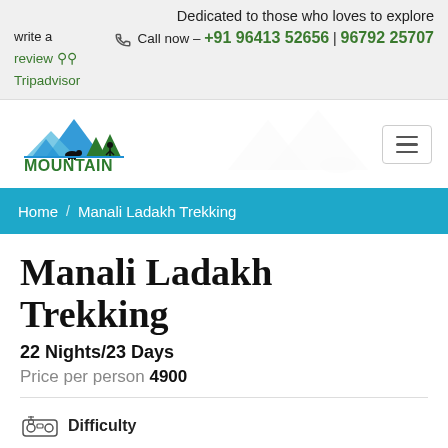Dedicated to those who loves to explore
write a review Tripadvisor | Call now - +91 96413 52656 | 96792 25707
[Figure (logo): Mountain Tours & Travels logo with mountains, trees, tent, and yak in blue and green]
Home / Manali Ladakh Trekking
Manali Ladakh Trekking
22 Nights/23 Days
Price per person 4900
Difficulty